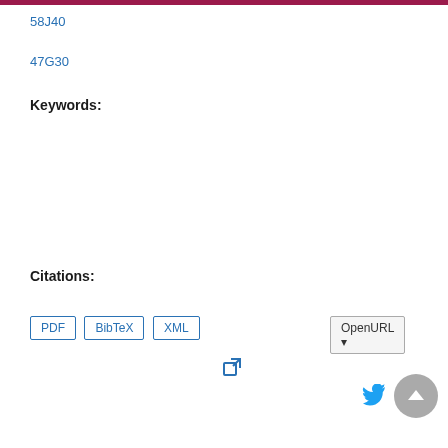58J40
47G30
Keywords:
Citations:
PDF | BibTeX | XML | OpenURL